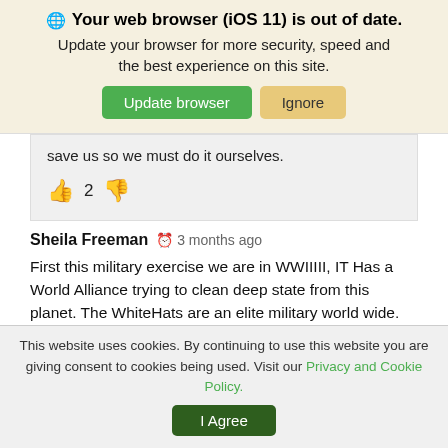🌐 Your web browser (iOS 11) is out of date. Update your browser for more security, speed and the best experience on this site.
save us so we must do it ourselves.
👍 2 👎
Sheila Freeman  🕐 3 months ago
First this military exercise we are in WWIII, IT Has a World Alliance trying to clean deep state from this planet. The WhiteHats are an elite military world wide.
This website uses cookies. By continuing to use this website you are giving consent to cookies being used. Visit our Privacy and Cookie Policy.